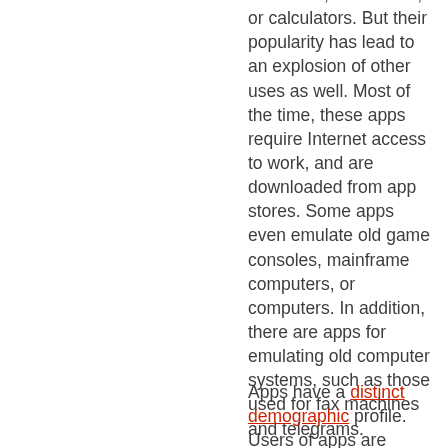calendars, calculators, or calculators. But their popularity has lead to an explosion of other uses as well. Most of the time, these apps require Internet access to work, and are downloaded from app stores. Some apps even emulate old game consoles, mainframe computers, or computers. In addition, there are apps for emulating old computer systems, such as those used for fax machines and telegrams.
Apps have a distinct demographic profile. Users of apps are